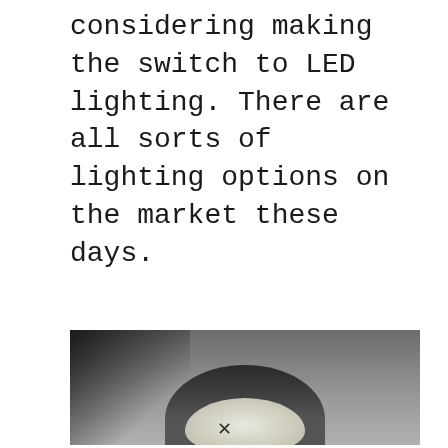considering making the switch to LED lighting. There are all sorts of lighting options on the market these days.
[Figure (photo): A photograph of a ceiling-mounted LED light fixture viewed from below at an angle, showing a dark circular housing with a white frosted glass lens, against a grey ceiling.]